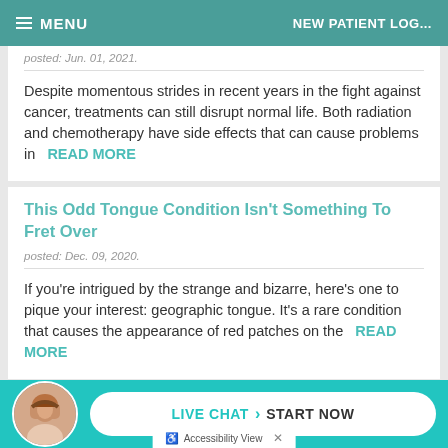MENU | NEW PATIENT LOG...
posted: Jun. 01, 2021.
Despite momentous strides in recent years in the fight against cancer, treatments can still disrupt normal life. Both radiation and chemotherapy have side effects that can cause problems in  READ MORE
This Odd Tongue Condition Isn't Something To Fret Over
posted: Dec. 09, 2020.
If you're intrigued by the strange and bizarre, here's one to pique your interest: geographic tongue. It's a rare condition that causes the appearance of red patches on the  READ MORE
[Figure (photo): Live chat assistant avatar - woman with brown hair smiling, circular photo]
LIVE CHAT  START NOW